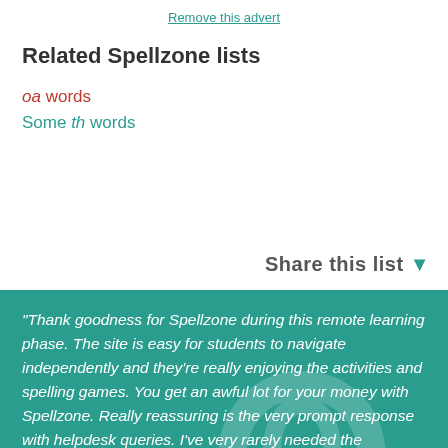Remove this advert
Related Spellzone lists
oa words
Some th words
Share this list ▼
"Thank goodness for Spellzone during this remote learning phase. The site is easy for students to navigate independently and they're really enjoying the activities and spelling games. You get an awful lot for your money with Spellzone. Really reassuring is the very prompt response with helpdesk queries. I've very rarely needed the helpdesk